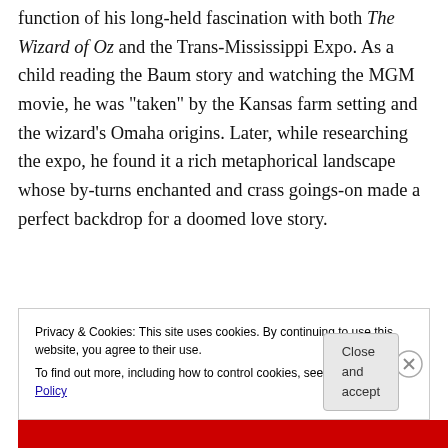function of his long-held fascination with both The Wizard of Oz and the Trans-Mississippi Expo. As a child reading the Baum story and watching the MGM movie, he was “taken” by the Kansas farm setting and the wizard’s Omaha origins. Later, while researching the expo, he found it a rich metaphorical landscape whose by-turns enchanted and crass goings-on made a perfect backdrop for a doomed love story.
Privacy & Cookies: This site uses cookies. By continuing to use this website, you agree to their use.
To find out more, including how to control cookies, see here: Cookie Policy